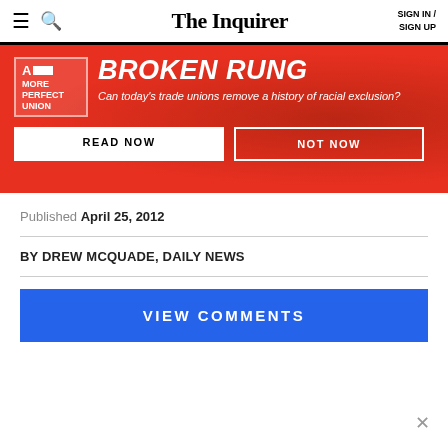The Inquirer | SIGN IN / SIGN UP
[Figure (infographic): Red promotional banner for 'Broken Rung' series — A More Perfect Union logo, title 'BROKEN RUNG', subtitle 'Can today's trade unions remove a history of racial exclusion?', with READ NOW and NOT NOW buttons, protest crowd background]
Published April 25, 2012
BY DREW McQUADE, Daily News
VIEW COMMENTS